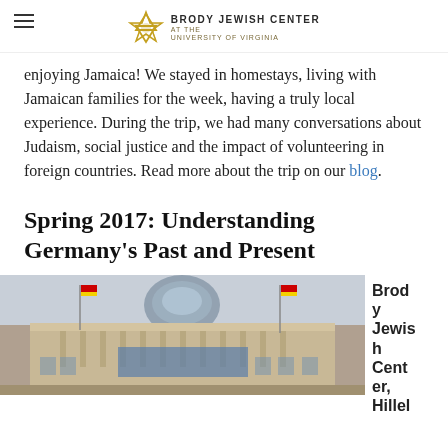Brody Jewish Center at the University of Virginia
enjoying Jamaica! We stayed in homestays, living with Jamaican families for the week, having a truly local experience. During the trip, we had many conversations about Judaism, social justice and the impact of volunteering in foreign countries. Read more about the trip on our blog.
Spring 2017: Understanding Germany's Past and Present
[Figure (photo): Photograph of the Reichstag building in Berlin, Germany, showing its neoclassical facade with columns, flags, and iconic glass dome on top. German flags are visible flanking the entrance.]
Brody Jewish Center, Hillel